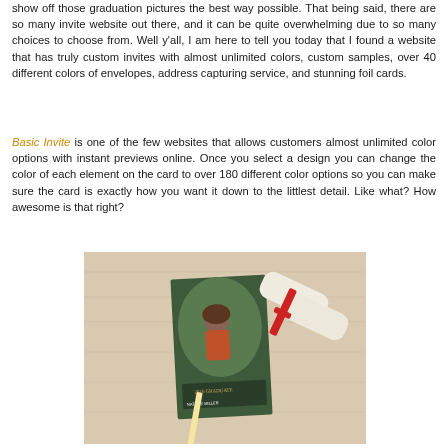show off those graduation pictures the best way possible. That being said, there are so many invite website out there, and it can be quite overwhelming due to so many choices to choose from. Well y'all, I am here to tell you today that I found a website that has truly custom invites with almost unlimited colors, custom samples, over 40 different colors of envelopes, address capturing service, and stunning foil cards.
Basic Invite is one of the few websites that allows customers almost unlimited color options with instant previews online. Once you select a design you can change the color of each element on the card to over 180 different color options so you can make sure the card is exactly how you want it down to the littlest detail. Like what? How awesome is that right?
[Figure (photo): A graduation invite card with a girl's photo on a wooden table, alongside a rolled diploma and a pencil]